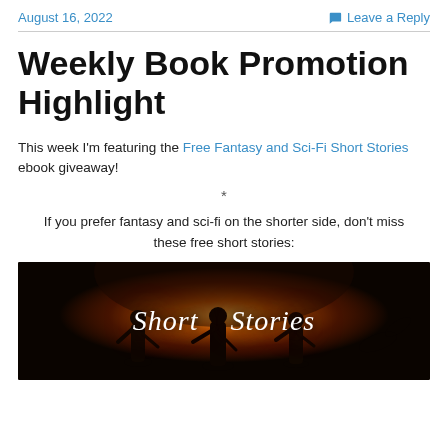August 16, 2022
Leave a Reply
Weekly Book Promotion Highlight
This week I'm featuring the Free Fantasy and Sci-Fi Short Stories ebook giveaway!
*
If you prefer fantasy and sci-fi on the shorter side, don't miss these free short stories:
[Figure (illustration): Dark fantasy promotional banner showing silhouettes of warriors against a fiery orange-yellow glowing background, with the text 'Short Stories' in white italic script overlaid.]